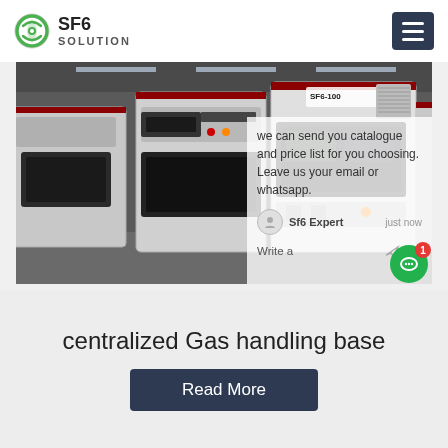SF6 SOLUTION
[Figure (photo): Industrial SF6 gas handling equipment — large white cabinet-style machines in a warehouse/factory setting, with the label 'SF6-100' visible on the front unit. Multiple units arranged side by side.]
we can send you catalogue and price list for you choosing. Leave us your email or whatsapp.
Sf6 Expert   just now
Write a
centralized Gas handling base
Read More